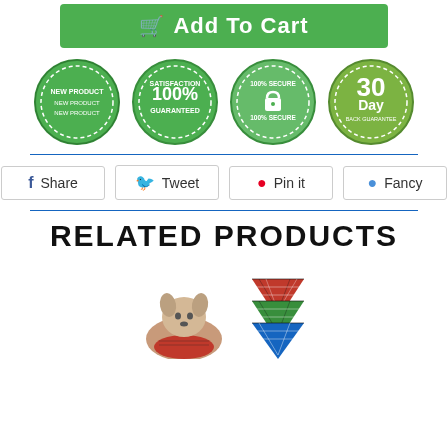[Figure (other): Green Add To Cart button with cart icon]
[Figure (other): Four green badge icons: New Product, 100% Satisfaction Guaranteed, 100% Secure, 30 Day Back Guarantee]
[Figure (other): Social sharing buttons: Share (Facebook), Tweet (Twitter), Pin it (Pinterest), Fancy]
RELATED PRODUCTS
[Figure (photo): Photo of a husky puppy wearing a red plaid bandana, with additional plaid bandanas shown next to it]